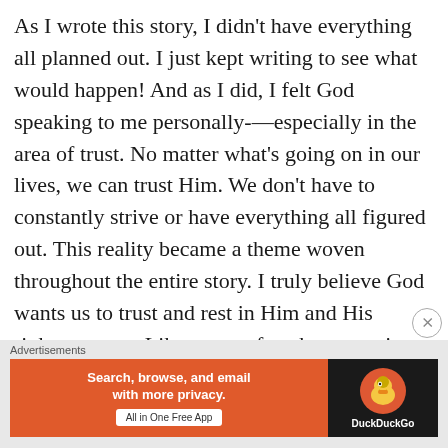As I wrote this story, I didn't have everything all planned out. I just kept writing to see what would happen! And as I did, I felt God speaking to me personally-—especially in the area of trust. No matter what's going on in our lives, we can trust Him. We don't have to constantly strive or have everything all figured out. This reality became a theme woven throughout the entire story. I truly believe God wants us to trust and rest in Him and His righteousness. Like many of us, however, it takes Kara a while to begin to
[Figure (other): DuckDuckGo advertisement banner with orange left panel reading 'Search, browse, and email with more privacy. All in One Free App' and dark right panel with DuckDuckGo duck logo and brand name]